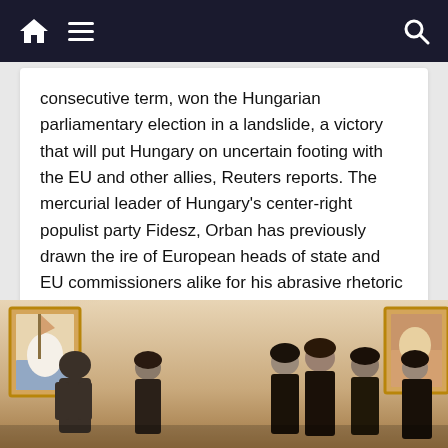Navigation bar with home, menu, and search icons
consecutive term, won the Hungarian parliamentary election in a landslide, a victory that will put Hungary on uncertain footing with the EU and other allies, Reuters reports. The mercurial leader of Hungary's center-right populist party Fidesz, Orban has previously drawn the ire of European heads of state and EU commissioners alike for his abrasive rhetoric on gender and immigration issues.
Read more
[Figure (photo): Group of men in traditional Taliban attire meeting with a suited official in a warmly lit room with framed artwork on walls]